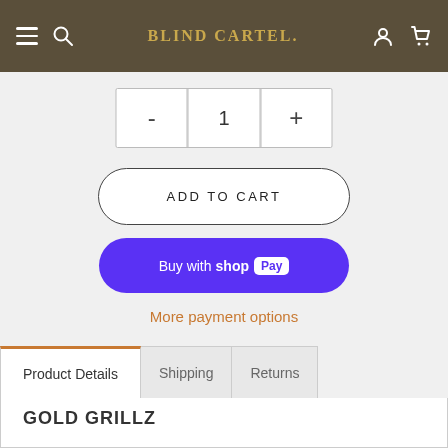BLIND CARTEL
- 1 +
ADD TO CART
Buy with shop Pay
More payment options
Product Details  Shipping  Returns
GOLD GRILLZ